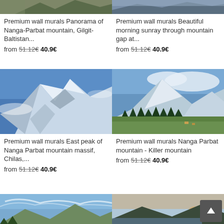[Figure (photo): Cropped top portion of panorama mountain photo (Nanga-Parbat)]
[Figure (photo): Cropped top portion of mountain gap sunray photo]
Premium wall murals Panorama of Nanga-Parbat mountain, Gilgit-Baltistan...
from 51.12€ 40.9€
Premium wall murals Beautiful morning sunray through mountain gap at...
from 51.12€ 40.9€
[Figure (photo): Snow-covered East peak of Nanga Parbat mountain massif under blue sky]
[Figure (photo): Nanga Parbat mountain - Killer mountain with green meadow and pine trees]
Premium wall murals East peak of Nanga Parbat mountain massif, Chilas,...
from 51.12€ 40.9€
Premium wall murals Nanga Parbat mountain - Killer mountain
from 51.12€ 40.9€
[Figure (photo): Partial mountain landscape with blue sky and wispy clouds (left bottom)]
[Figure (photo): Partial sunset lake mountain landscape (right bottom)]